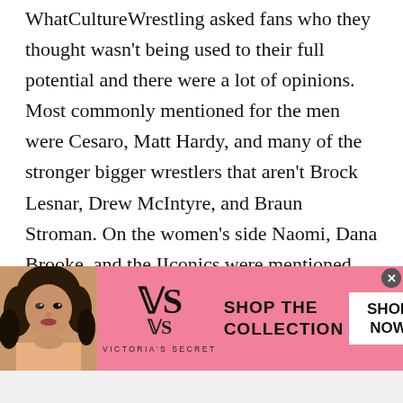WhatCultureWrestling asked fans who they thought wasn't being used to their full potential and there were a lot of opinions. Most commonly mentioned for the men were Cesaro, Matt Hardy, and many of the stronger bigger wrestlers that aren't Brock Lesnar, Drew McIntyre, and Braun Stroman. On the women's side Naomi, Dana Brooke, and the IIconics were mentioned repeatedly. The lack of defense for the Women's Tag Team was also mentioned more than once.
[Figure (infographic): Victoria's Secret advertisement banner with pink background, a woman model on the left, VS logo and 'Victoria's Secret' text in the center, 'SHOP THE COLLECTION' text and a white 'SHOP NOW' button on the right]